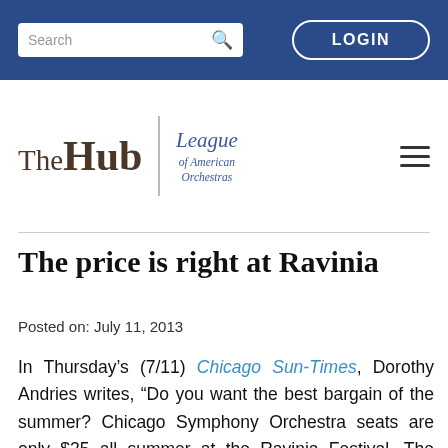Search  LOGIN
[Figure (logo): The Hub | League of American Orchestras logo with hamburger menu]
The price is right at Ravinia
Posted on: July 11, 2013
In Thursday's (7/11) Chicago Sun-Times, Dorothy Andries writes, “Do you want the best bargain of the summer? Chicago Symphony Orchestra seats are only $25 all summer at the Ravinia Festival. The Ravinia Festival pavilion seats 3,400 and tickets for 2,500 of the 14 CSO concerts there will be sold for